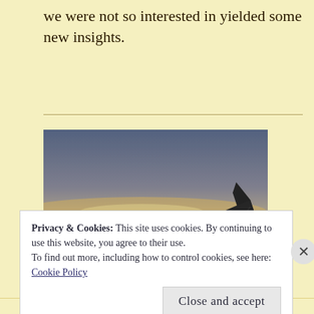we were not so interested in yielded some new insights.
[Figure (photo): View from airplane window showing airplane wing against a sunset sky with orange glow on the horizon and dark ground below.]
Privacy & Cookies: This site uses cookies. By continuing to use this website, you agree to their use.
To find out more, including how to control cookies, see here:
Cookie Policy
Close and accept